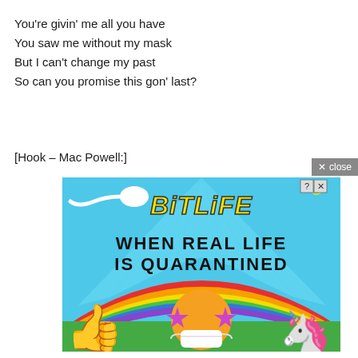You're givin' me all you have
You saw me without my mask
But I can't change my past
So can you promise this gon' last?
[Hook – Mac Powell:]
[Figure (illustration): BitLife app advertisement showing colorful cartoon with sperm icon, yellow bold BitLife logo with italic styling, text 'WHEN REAL LIFE IS QUARANTINED', rainbow arc, thumbs up emoji, star-eyes emoji wearing mask, and unicorn, on a blue sky background. Has ? and X icons in top right corner.]
× close